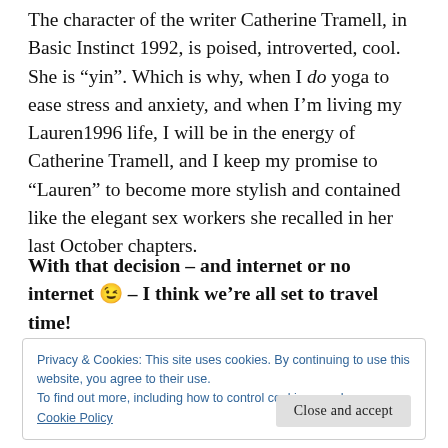The character of the writer Catherine Tramell, in Basic Instinct 1992, is poised, introverted, cool. She is “yin”. Which is why, when I do yoga to ease stress and anxiety, and when I’m living my Lauren1996 life, I will be in the energy of Catherine Tramell, and I keep my promise to “Lauren” to become more stylish and contained like the elegant sex workers she recalled in her last October chapters.
With that decision – and internet or no internet 😉 – I think we’re all set to travel time!
Privacy & Cookies: This site uses cookies. By continuing to use this website, you agree to their use.
To find out more, including how to control cookies, see here:
Cookie Policy
Close and accept